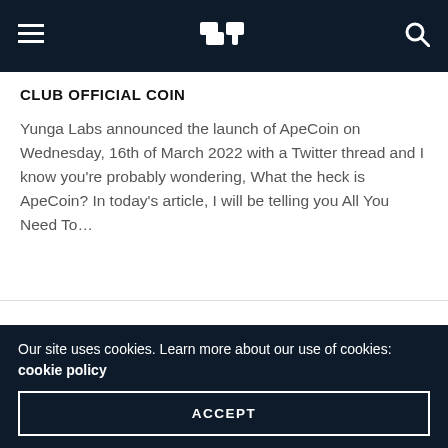SELLBITCOINS.AFRICA navigation bar with hamburger menu, logo, and search icon
CLUB OFFICIAL COIN
Yunga Labs announced the launch of ApeCoin on Wednesday, 16th of March 2022 with a Twitter thread and I know you're probably wondering, What the heck is ApeCoin? In today's article, I will be telling you All You Need To…
[Figure (logo): SELLBITCOINS.AFRICA site logo]
GUIDE  NEWS  TRADING  TUTORIALS  REVIEWS
Our site uses cookies. Learn more about our use of cookies: cookie policy
ACCEPT